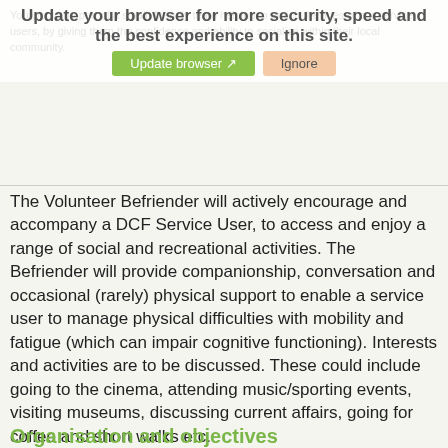[Figure (screenshot): Browser update notification overlay with green 'Update browser' button and beige 'Ignore' button. Text reads: 'Update your browser for more security, speed and the best experience on this site.']
You would be part of a small, friendly team helping to enrich the lives of our service users, by giving them the confidence and ability to socialise within their local community.
The Volunteer Befriender will actively encourage and accompany a DCF Service User, to access and enjoy a range of social and recreational activities. The Befriender will provide companionship, conversation and occasional (rarely) physical support to enable a service user to manage physical difficulties with mobility and fatigue (which can impair cognitive functioning). Interests and activities are to be discussed. These could include going to the cinema, attending music/sporting events, visiting museums, discussing current affairs, going for coffee and short walks etc.
Dynamic Community Fusion operates two projects in the Scottish Borders, The Borders Brain Injury Service and Reconnect with Confidence. Both of these aim to assist adults who have sustained a brain injury, to live independently and to re-integrate into their communities.
Organisation and objectives